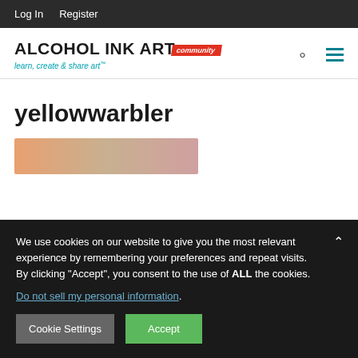Log In  Register
[Figure (logo): Alcohol Ink Art community logo with tagline 'learn, create & share art']
yellowwarbler
[Figure (photo): Partial view of artwork in warm tones]
We use cookies on our website to give you the most relevant experience by remembering your preferences and repeat visits. By clicking "Accept", you consent to the use of ALL the cookies.
Do not sell my personal information.